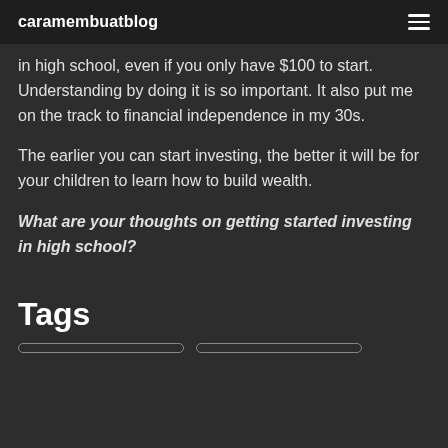caramembuatblog
in high school, even if you only have $100 to start. Understanding by doing it is so important. It also put me on the track to financial independence in my 30s.
The earlier you can start investing, the better it will be for your children to learn how to build wealth.
What are your thoughts on getting started investing in high school?
Tags